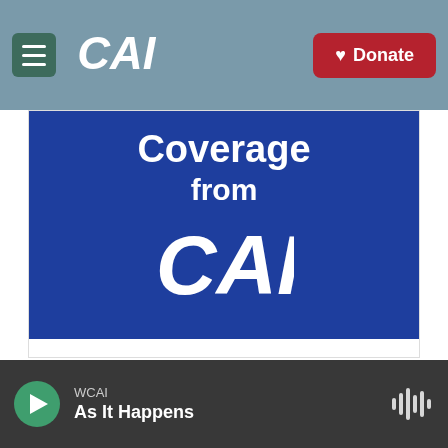CAI — Navigation bar with hamburger menu and Donate button
[Figure (illustration): CAI radio station website screenshot showing a blue banner with 'Coverage from CAI' logo and text 'Reporting, Resources Conversation' below it]
Coverage from CAI
Reporting, Resources Conversation
WCAI — As It Happens (audio player bar)